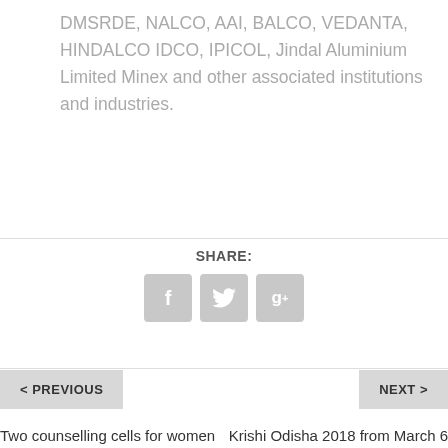DMSRDE, NALCO, AAI, BALCO, VEDANTA, HINDALCO IDCO, IPICOL, Jindal Aluminium Limited Minex and other associated institutions and industries.
SHARE:
[Figure (other): Social media share icons: Facebook (f), Twitter (bird), Google Plus (g+)]
< PREVIOUS
NEXT >
Two counselling cells for women victims to come up at Rourkela and Balasore : Naveen
Krishi Odisha 2018 from March 6 to 9